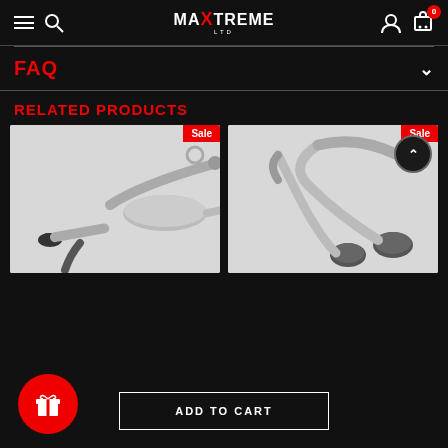MAXTREME LTD — Navigation header with hamburger, search, logo, user, and cart icons
FAQ
RELATED PRODUCTS
[Figure (photo): Exhaust system parts on white/grey background with Sale badge — left product card]
[Figure (photo): Exhaust system parts on white/grey background with Sale badge — right product card]
ADD TO CART